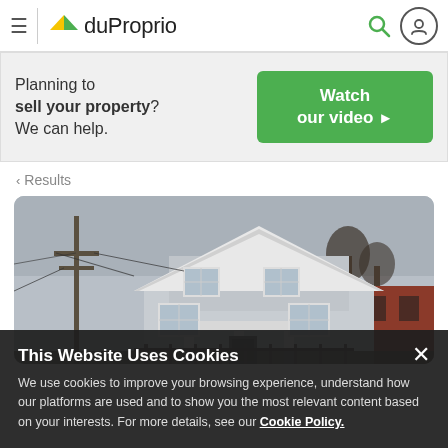duProprio navigation header with hamburger menu, logo, search and user icons
[Figure (infographic): duProprio banner ad: 'Planning to sell your property? We can help.' with green 'Watch our video ▶' button]
< Results
[Figure (photo): Exterior photo of a two-storey grey residential house with utility poles and bare trees, overcast sky]
This Website Uses Cookies
We use cookies to improve your browsing experience, understand how our platforms are used and to show you the most relevant content based on your interests. For more details, see our Cookie Policy.